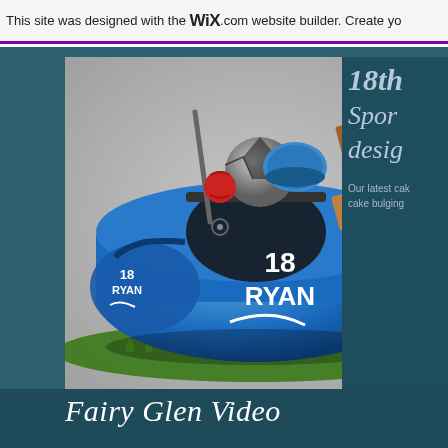This site was designed with the WIX.com website builder. Create yo
[Figure (illustration): Illustrated sports bag (blue duffel bag with '18 RYAN' printed on both sides) sitting on grass, with sports equipment poking out the top including a soccer ball, cricket bat, and other gear.]
18th
Spor
desig
Our latest cak
cake bulging
Fairy Glen Video